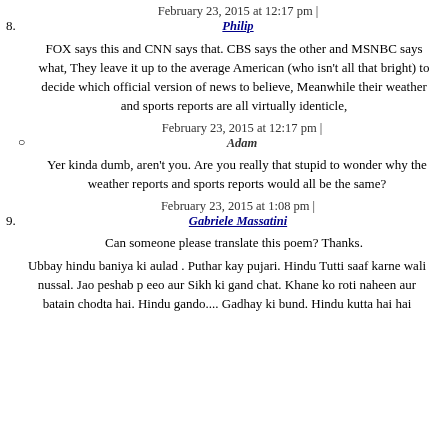8. February 23, 2015 at 12:17 pm | Philip
FOX says this and CNN says that. CBS says the other and MSNBC says what, They leave it up to the average American (who isn't all that bright) to decide which official version of news to believe, Meanwhile their weather and sports reports are all virtually identicle,
° February 23, 2015 at 12:17 pm | Adam
Yer kinda dumb, aren't you. Are you really that stupid to wonder why the weather reports and sports reports would all be the same?
9. February 23, 2015 at 1:08 pm | Gabriele Massatini
Can someone please translate this poem? Thanks.
Ubbay hindu baniya ki aulad . Puthar kay pujari. Hindu Tutti saaf karne wali nussal. Jao peshab p eeo aur Sikh ki gand chat. Khane ko roti naheen aur batain chodta hai. Hindu gando.... Gadhay ki bund. Hindu kutta hai hai